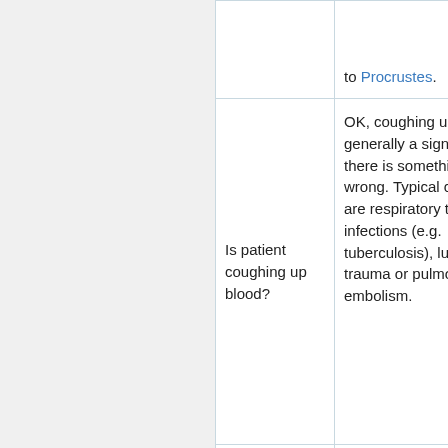|  | Description/Notes |  |
| --- | --- | --- |
|  | to Procrustes. | Yes blo retu bod |
| Is patient coughing up blood? | OK, coughing up blood is generally a sign that there is something wrong. Typical causes are respiratory tract infections (e.g. tuberculosis), lung trauma or pulmonary embolism. | Yes bloo retu bod
No: still |
|  | Not usually considered a step, but | Yes puls |